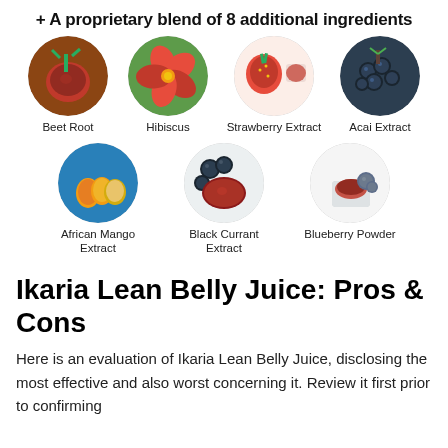+ A proprietary blend of 8 additional ingredients
[Figure (illustration): Seven circular images of ingredients arranged in two rows: Row 1: Beet Root, Hibiscus, Strawberry Extract, Acai Extract. Row 2: African Mango Extract, Black Currant Extract, Blueberry Powder.]
Ikaria Lean Belly Juice: Pros & Cons
Here is an evaluation of Ikaria Lean Belly Juice, disclosing the most effective and also worst concerning it. Review it first prior to confirming